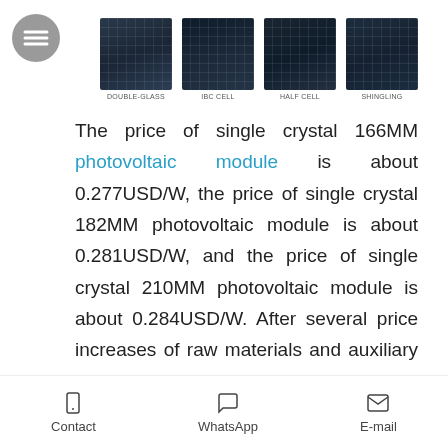[Figure (photo): Four types of solar photovoltaic panels shown from above: Double-Glass, IBC Cell, Half Cell, and Shingling, with labels beneath each panel image. A hamburger menu icon (three horizontal lines in a circle) is shown to the left.]
The price of single crystal 166MM photovoltaic module is about 0.277USD/W, the price of single crystal 182MM photovoltaic module is about 0.281USD/W, and the price of single crystal 210MM photovoltaic module is about 0.284USD/W. After several price increases of raw materials and auxiliary materials upstream of the industrial chain, the profit of photovoltaic modules gradually decreased, and the price rose slightly.
Contact   WhatsApp   E-mail